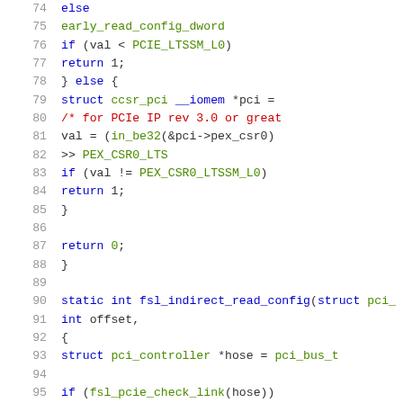[Figure (screenshot): Source code listing (C language) showing lines 74-95 of a Linux kernel PCIe driver, with syntax highlighting: line numbers in gray, keywords in blue, comments in red, identifiers/constants in green.]